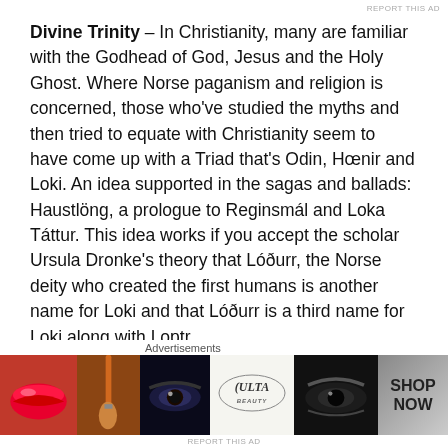REPORT THIS AD
Divine Trinity – In Christianity, many are familiar with the Godhead of God, Jesus and the Holy Ghost. Where Norse paganism and religion is concerned, those who've studied the myths and then tried to equate with Christianity seem to have come up with a Triad that's Odin, Hœnir and Loki. An idea supported in the sagas and ballads: Haustlöng, a prologue to Reginsmál and Loka Táttur. This idea works if you accept the scholar Ursula Dronke's theory that Lóðurr, the Norse deity who created the first humans is another name for Loki and that Lóðurr is a third name for Loki along with Loptr.
You're not alone if you reject this idea of Loki and Lóðurr
Advertisements
[Figure (photo): Advertisement banner for ULTA Beauty showing cosmetic close-up images including lips, makeup brush, eyes, ULTA logo, and SHOP NOW text]
REPORT THIS AD